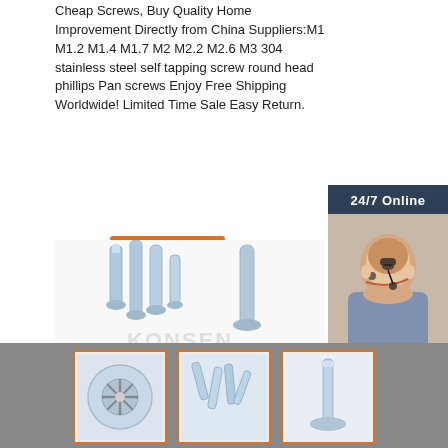Cheap Screws, Buy Quality Home Improvement Directly from China Suppliers:M1 M1.2 M1.4 M1.7 M2 M2.2 M2.6 M3 304 stainless steel self tapping screw round head phillips Pan screws Enjoy Free Shipping Worldwide! Limited Time Sale Easy Return.
Get Price
[Figure (photo): Customer service representative wearing headset, '24/7 Online' banner, 'Click here for free chat!', QUOTATION button]
[Figure (photo): Multiple stainless steel self-tapping screws of various sizes arranged on white background with watermark]
[Figure (photo): Bottom strip showing three thumbnail images of screws: Phillips head closeup, pile of screws, single screw]